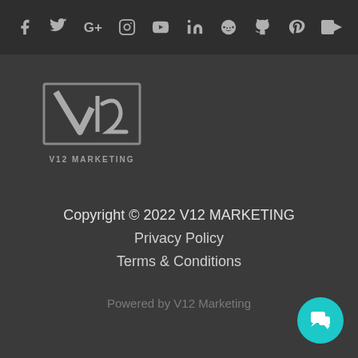[Figure (infographic): Social media icons bar at top: Facebook, Twitter, Google+, Instagram, YouTube, LinkedIn, Reddit, GitHub, Pinterest, Vimeo]
[Figure (logo): V12 Marketing logo — stylized V12 monogram above text 'V12 MARKETING']
Copyright © 2022 V12 MARKETING
Privacy Policy
Terms & Conditions
Powered by V12 Marketing
[Figure (illustration): Teal circular chat button in bottom-right corner with speech bubble icon]